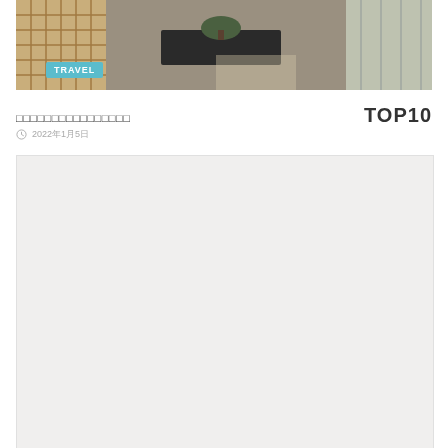[Figure (photo): Interior lobby photo with wooden lattice wall, dark stone table with bonsai, and glass windows]
□□□□□□□□□□□□□□□□ TOP10
2022年1月5日
[Figure (photo): Light grey placeholder image area]